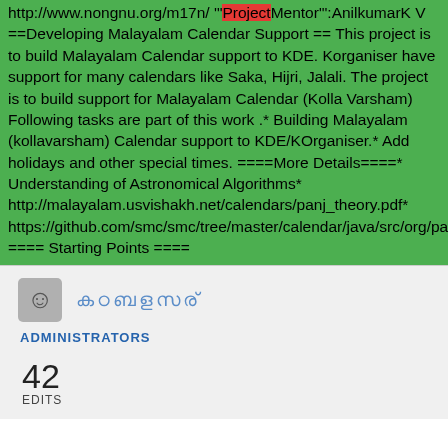http://www.nongnu.org/m17n/ '"ProjectMentor"':AnilkumarK V ==Developing Malayalam Calendar Support == This project is to build Malayalam Calendar support to KDE. Korganiser have support for many calendars like Saka, Hijri, Jalali. The project is to build support for Malayalam Calendar (Kolla Varsham) Following tasks are part of this work .* Building Malayalam (kollavarsham) Calendar support to KDE/KOrganiser.* Add holidays and other special times. ====More Details====* Understanding of Astronomical Algorithms* http://malayalam.usvishakh.net/calendars/panj_theory.pdf* https://github.com/smc/smc/tree/master/calendar/java/src/org/panchanga/indic ==== Starting Points ====
[Figure (other): User avatar icon (smiley face) with username in Malayalam script, role label ADMINISTRATORS, and edit count 42 EDITS]